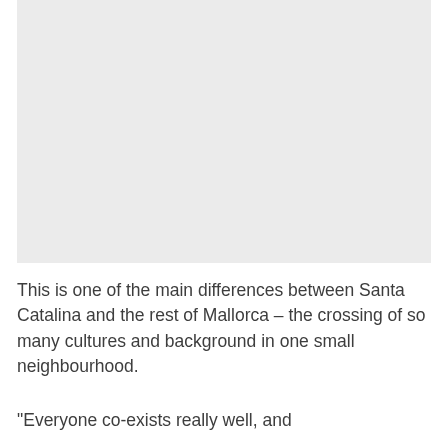[Figure (photo): A light gray rectangular placeholder image occupying the top portion of the page.]
This is one of the main differences between Santa Catalina and the rest of Mallorca – the crossing of so many cultures and background in one small neighbourhood.
“Everyone co-exists really well, and